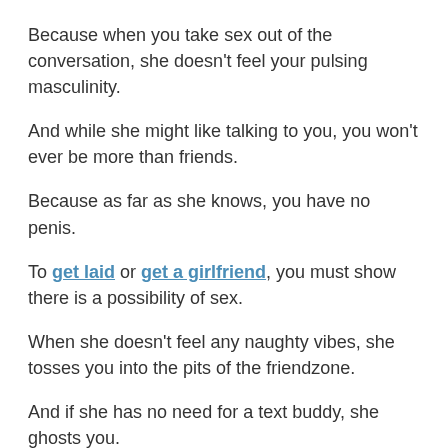Because when you take sex out of the conversation, she doesn't feel your pulsing masculinity.
And while she might like talking to you, you won't ever be more than friends.
Because as far as she knows, you have no penis.
To get laid or get a girlfriend, you must show there is a possibility of sex.
When she doesn't feel any naughty vibes, she tosses you into the pits of the friendzone.
And if she has no need for a text buddy, she ghosts you.